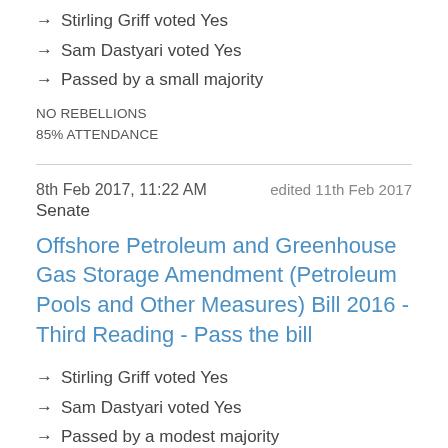→ Stirling Griff voted Yes
→ Sam Dastyari voted Yes
→ Passed by a small majority
NO REBELLIONS
85% ATTENDANCE
8th Feb 2017, 11:22 AM   edited 11th Feb 2017
Senate
Offshore Petroleum and Greenhouse Gas Storage Amendment (Petroleum Pools and Other Measures) Bill 2016 - Third Reading - Pass the bill
→ Stirling Griff voted Yes
→ Sam Dastyari voted Yes
→ Passed by a modest majority